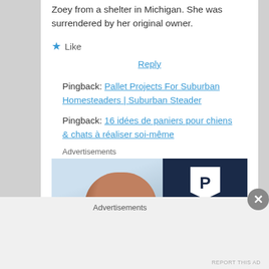Zoey from a shelter in Michigan. She was surrendered by her original owner.
★ Like
Reply
Pingback: Pallet Projects For Suburban Homesteaders | Suburban Steader
Pingback: 16 idées de paniers pour chiens & chats à réaliser soi-même
Advertisements
[Figure (screenshot): WordPress advertisement banner with a person smiling on the left (photo) and the WordPress 'P' logo on a dark navy background on the right, with text WORDPRESS at the bottom.]
Advertisements